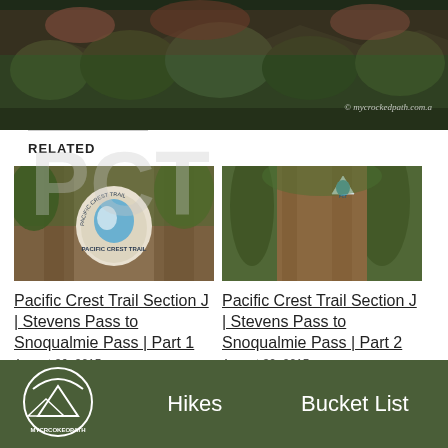[Figure (photo): Outdoor nature photo showing trees and foliage with a watermark reading © mycrockedpath.com.a]
[Figure (photo): Pacific Crest Trail sign on a tree trunk - left related article thumbnail]
Pacific Crest Trail Section J | Stevens Pass to Snoqualmie Pass | Part 1
[Figure (photo): Pacific Crest Trail sign on a tree trunk - right related article thumbnail]
Pacific Crest Trail Section J | Stevens Pass to Snoqualmie Pass | Part 2
RELATED
Hikes   Bucket List